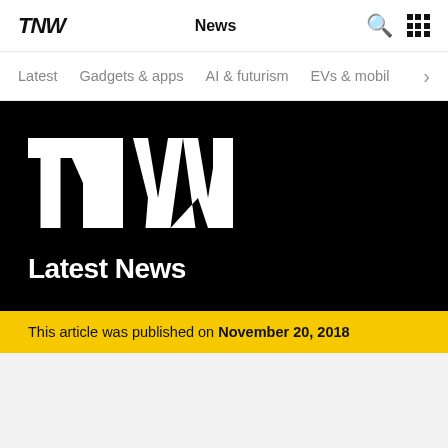TNW | News
TNW Latest News
This article was published on November 20, 2018